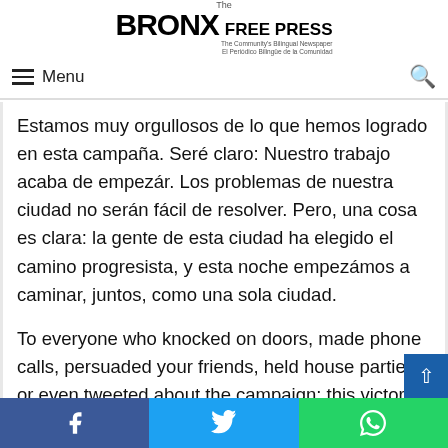The Bronx Free Press — The Community's Bilingual Newspaper / El Periódico Bilingüe de la Comunidad
But ma… chosen a progressive path, and tonight we set forth on it, together, as one city
Menu (navigation bar with search icon)
Estamos muy orgullosos de lo que hemos logrado en esta campaña. Seré claro: Nuestro trabajo acaba de empezár. Los problemas de nuestra ciudad no serán fácil de resolver. Pero, una cosa es clara: la gente de esta ciudad ha elegido el camino progresista, y esta noche empezámos a caminar, juntos, como una sola ciudad.
To everyone who knocked on doors, made phone calls, persuaded your friends, held house parties, or even tweeted about the campaign: this victory is yours! Thank you so much!